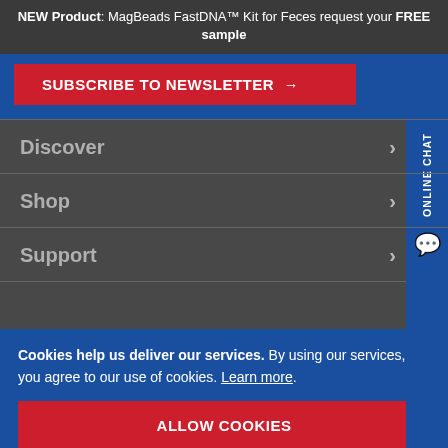NEW Product: MagBeads FastDNA™ Kit for Feces request your FREE sample
SUBSCRIBE TO NEWSLETTER →
Discover
Shop
Support
ONLINE CHAT
Cookies help us deliver our services. By using our services, you agree to our use of cookies. Learn more.
ALLOW COOKIES